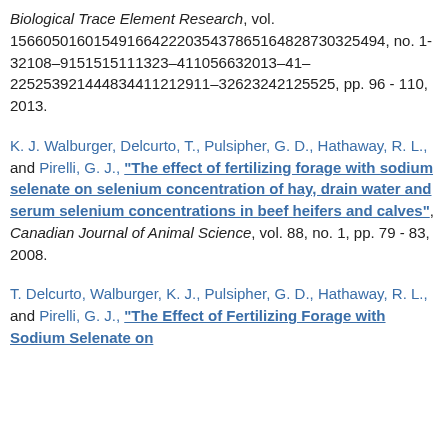Biological Trace Element Research, vol. 156605016015491664222035437865164828730325494, no. 1-32108–9151515111323–411056632013–41–225253921444834411212911–32623242125525, pp. 96 - 110, 2013.
K. J. Walburger, Delcurto, T., Pulsipher, G. D., Hathaway, R. L., and Pirelli, G. J., "The effect of fertilizing forage with sodium selenate on selenium concentration of hay, drain water and serum selenium concentrations in beef heifers and calves", Canadian Journal of Animal Science, vol. 88, no. 1, pp. 79 - 83, 2008.
T. Delcurto, Walburger, K. J., Pulsipher, G. D., Hathaway, R. L., and Pirelli, G. J., "The Effect of Fertilizing Forage with Sodium Selenate on